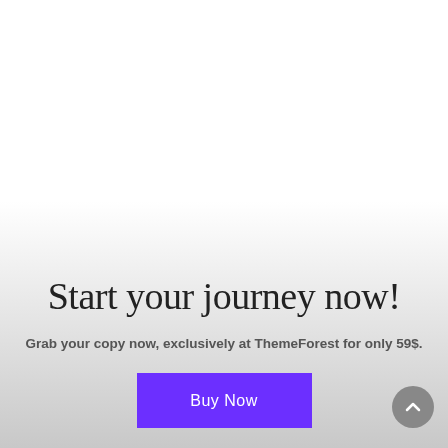Start your journey now!
Grab your copy now, exclusively at ThemeForest for only 59$.
[Figure (other): Purple 'Buy Now' button]
[Figure (other): Gray circular scroll-to-top button with upward chevron arrow]